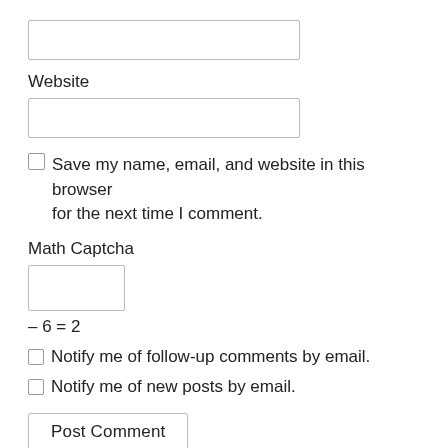[Figure (screenshot): Empty text input box for website URL field]
Website
[Figure (screenshot): Empty text input box for website field]
Save my name, email, and website in this browser for the next time I comment.
Math Captcha
[Figure (screenshot): Small empty text input box for math captcha answer]
– 6 = 2
Notify me of follow-up comments by email.
Notify me of new posts by email.
[Figure (screenshot): Post Comment button]